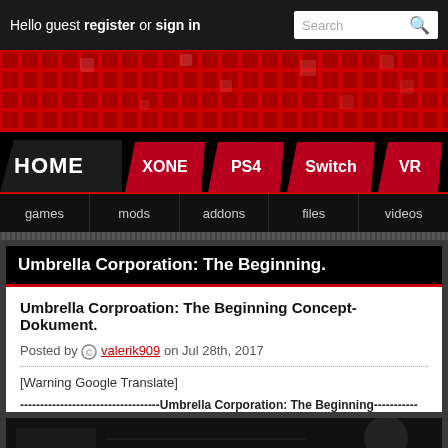Hello guest register or sign in
[Figure (screenshot): Red banner with grid pattern overlay, gaming website header]
[Figure (screenshot): Navigation tabs: HOME, XONE, PS4, Switch, VR on dark/red background]
games | mods | addons | files | videos
Umbrella Corporation: The Beginning.
Umbrella Corproation: The Beginning Concept-Dokument.
Posted by valerik909 on Jul 28th, 2017
[Warning Google Translate]
-----------------------------------Umbrella Corporation: The Beginning---...
[Figure (photo): Dark scene with armored figure/soldier on right side, dark sci-fi environment]